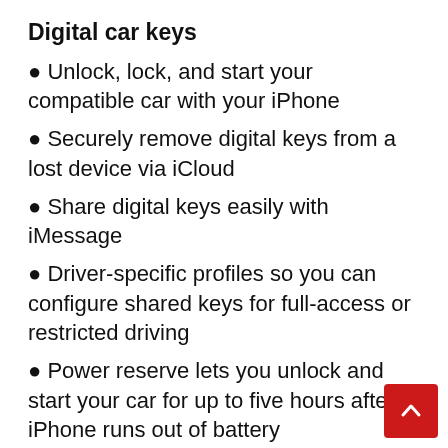Digital car keys
Unlock, lock, and start your compatible car with your iPhone
Securely remove digital keys from a lost device via iCloud
Share digital keys easily with iMessage
Driver-specific profiles so you can configure shared keys for full-access or restricted driving
Power reserve lets you unlock and start your car for up to five hours after iPhone runs out of battery
Apple News
Audio stories are professionally narrated versions of some of the best reads from Apple News+, selected and produced by the Apple News editors as part of your Apple News+